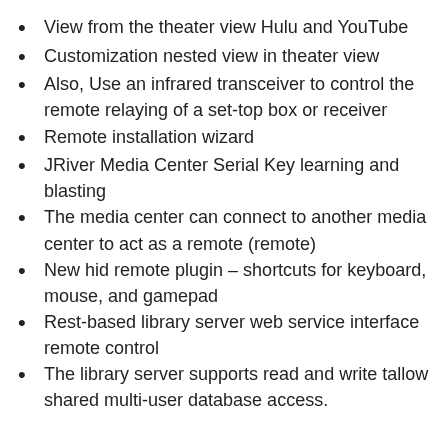View from the theater view Hulu and YouTube
Customization nested view in theater view
Also, Use an infrared transceiver to control the remote relaying of a set-top box or receiver
Remote installation wizard
JRiver Media Center Serial Key learning and blasting
The media center can connect to another media center to act as a remote (remote)
New hid remote plugin – shortcuts for keyboard, mouse, and gamepad
Rest-based library server web service interface remote control
The library server supports read and write tallow shared multi-user database access.